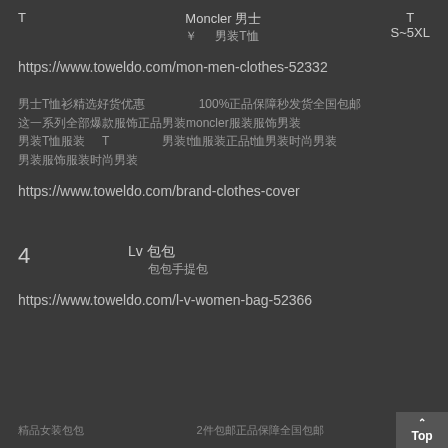T    Moncler 男士    T
￥    男装T恤    S~5XL
https://www.toweldo.com/mon-men-clothes-52332
男士T恤衫精选好货优惠 100%正品保障秒发货全国包邮 这一系列全部爆款服饰正品男装moncler服装服饰男装 男装新款 T 男装t恤服装正品t恤男装时尚男装 男装服饰服装时尚男装
https://www.toweldo.com/brand-clothes-cover
4    Lv 包包
包包手提包
https://www.toweldo.com/l-v-women-bag-52366
精品女装包包    2件包邮正品保障全国包邮    Top